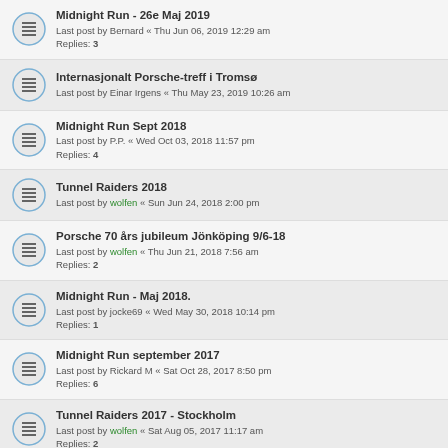Midnight Run - 26e Maj 2019
Last post by Bernard « Thu Jun 06, 2019 12:29 am
Replies: 3
Internasjonalt Porsche-treff i Tromsø
Last post by Einar Irgens « Thu May 23, 2019 10:26 am
Midnight Run Sept 2018
Last post by P.P. « Wed Oct 03, 2018 11:57 pm
Replies: 4
Tunnel Raiders 2018
Last post by wolfen « Sun Jun 24, 2018 2:00 pm
Porsche 70 års jubileum Jönköping 9/6-18
Last post by wolfen « Thu Jun 21, 2018 7:56 am
Replies: 2
Midnight Run - Maj 2018.
Last post by jocke69 « Wed May 30, 2018 10:14 pm
Replies: 1
Midnight Run september 2017
Last post by Rickard M « Sat Oct 28, 2017 8:50 pm
Replies: 6
Tunnel Raiders 2017 - Stockholm
Last post by wolfen « Sat Aug 05, 2017 11:17 am
Replies: 2
Midnight Run 2017 - il Caffe, Bergsgatan.
Last post by wolfen « Mon Jun 05, 2017 11:36 am
Replies: 7
PCS Festival i Båstad